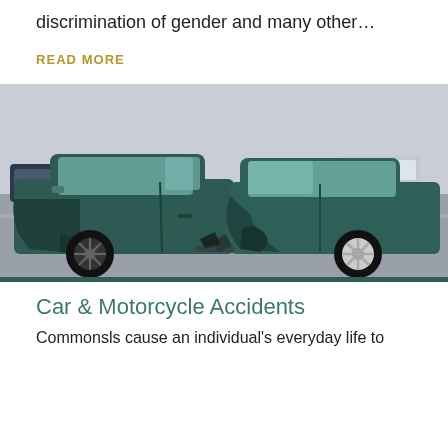discrimination of gender and many other…
READ MORE
[Figure (photo): Two heavily damaged cars after a collision on a busy road, with traffic visible in the background. The vehicles appear to have collided head-on, with crumpled front ends.]
Car & Motorcycle Accidents
Commonsls cause an individual's everyday life to